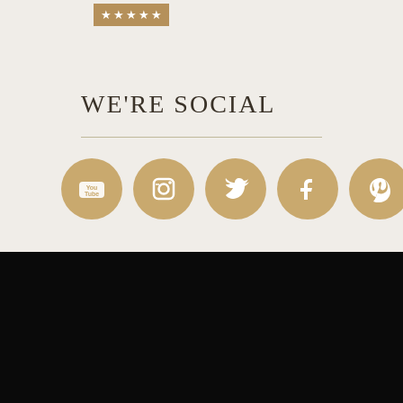[Figure (infographic): Gold star rating badge with 5 stars on gold/tan background]
WE'RE SOCIAL
[Figure (infographic): Row of 6 golden circular social media icons: YouTube, Instagram, Twitter, Facebook, Pinterest, and a custom brand icon]
©2022 Robeson Design. All Rights Reserved.
Located at: 2837 Presidio Dr. San Diego, CA 92110
[Figure (infographic): Row of 6 award or certification badge images in the footer]
Developed by: Tinyfrog